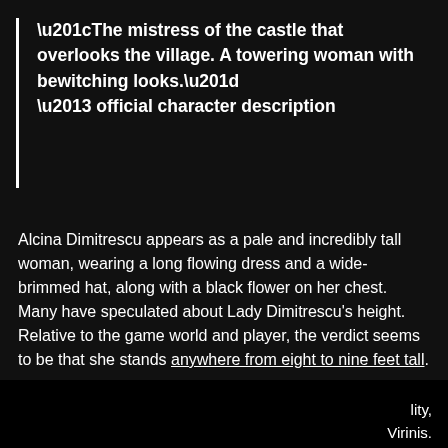“The mistress of the castle that overlooks the village. A towering woman with bewitching looks.” – official character description
Alcina Dimitrescu appears as a pale and incredibly tall woman, wearing a long flowing dress and a wide-brimmed hat, along with a black flower on her chest. Many have speculated about Lady Dimitrescu’s height. Relative to the game world and player, the verdict seems to be that she stands anywhere from eight to nine feet tall.
She and her daughters have lived at the castle since at least the 1950s, and yet look very young, which likely
lity, Virinis.